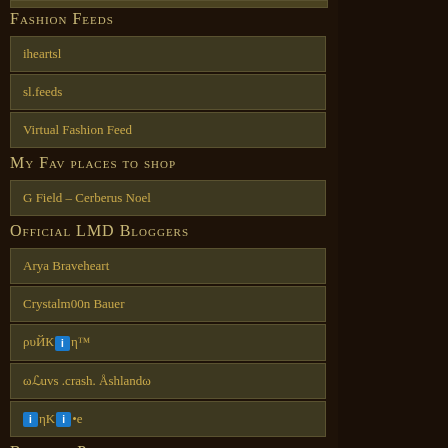Fashion Feeds
iheartsl
sl.feeds
Virtual Fashion Feed
My Fav places to shop
G Field – Cerberus Noel
Official LMD Bloggers
Arya Braveheart
Crystalm00n Bauer
ρυЙК👍η™
φℒuvs .crash. Åshlandφ
[i]ηК[i]•e
Blogger Pages